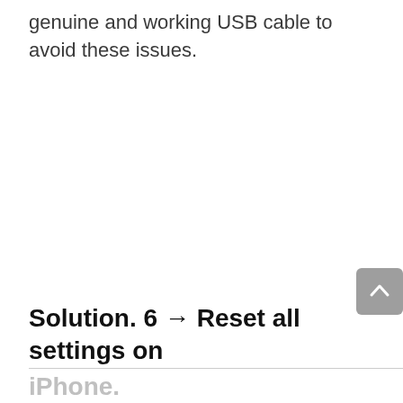genuine and working USB cable to avoid these issues.
[Figure (other): Gray scroll-to-top button with upward chevron arrow]
Solution. 6 → Reset all settings on iPhone.